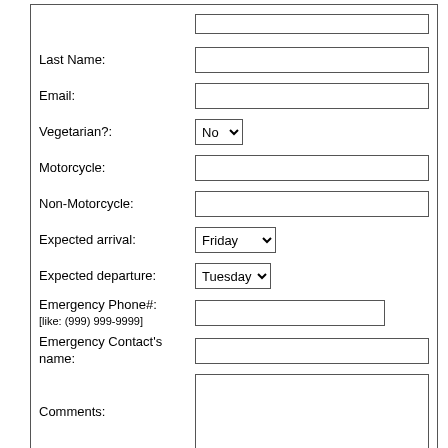Last Name:
Email:
Vegetarian?: No
Motorcycle:
Non-Motorcycle:
Expected arrival: Friday
Expected departure: Tuesday
Emergency Phone#: [like: (999) 999-9999]
Emergency Contact's name:
Comments:
Note: plain text only, no HTML or quotes allowed!
Send data